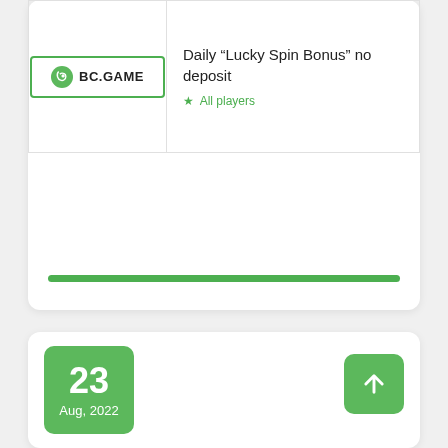| Logo | Description |
| --- | --- |
| BC.GAME | Daily “Lucky Spin Bonus” no deposit
* All players |
[Figure (other): Green progress bar at the bottom of the top card]
[Figure (other): Date badge showing 23 Aug, 2022 and an up arrow button]